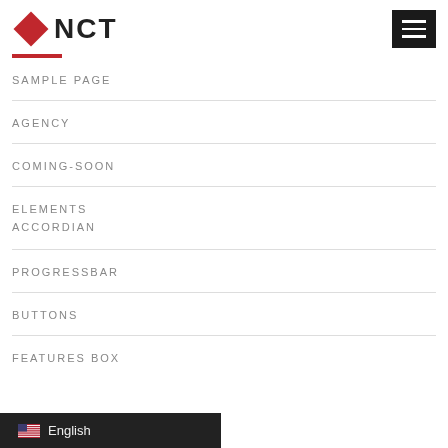NCT
SAMPLE PAGE
AGENCY
COMING-SOON
ELEMENTS
ACCORDIAN
PROGRESSBAR
BUTTONS
FEATURES BOX
English